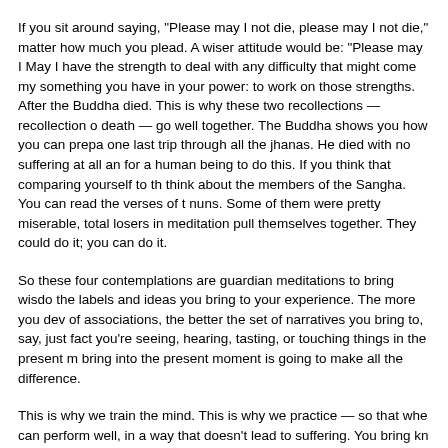If you sit around saying, "Please may I not die, please may I not die," matter how much you plead. A wiser attitude would be: "Please may I May I have the strength to deal with any difficulty that might come my something you have in your power: to work on those strengths. After the Buddha died. This is why these two recollections — recollection o death — go well together. The Buddha shows you how you can prepa one last trip through all the jhanas. He died with no suffering at all an for a human being to do this. If you think that comparing yourself to th think about the members of the Sangha. You can read the verses of t nuns. Some of them were pretty miserable, total losers in meditation pull themselves together. They could do it; you can do it.
So these four contemplations are guardian meditations to bring wisdo the labels and ideas you bring to your experience. The more you dev of associations, the better the set of narratives you bring to, say, just fact you're seeing, hearing, tasting, or touching things in the present m bring into the present moment is going to make all the difference.
This is why we train the mind. This is why we practice — so that whe can perform well, in a way that doesn't lead to suffering. You bring kn no matter which factor of dependent co-arising you're looking at — w craving, clinging, or whatever — you can untangle the conditions for s conditions that lead to the end of suffering.